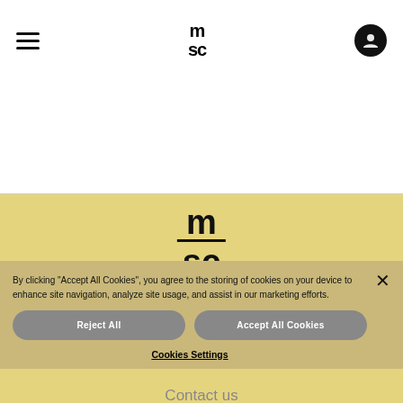[Figure (logo): MSC logo small in top navigation bar]
[Figure (logo): MSC logo large in footer area]
By clicking "Accept All Cookies", you agree to the storing of cookies on your device to enhance site navigation, analyze site usage, and assist in our marketing efforts.
Reject All
Accept All Cookies
Local information
Newsroom
Cookies Settings
Contact us